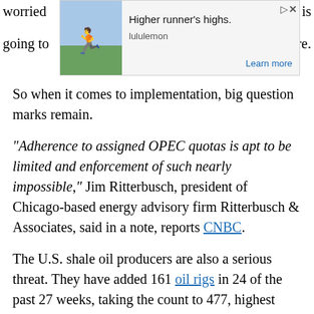[Figure (screenshot): Advertisement banner for lululemon with headline 'Higher runner's highs.' and 'Learn more' link. Contains an image of a runner. Partially overlaps text reading 'worried... n is going to... re.']
So when it comes to implementation, big question marks remain.
"Adherence to assigned OPEC quotas is apt to be limited and enforcement of such nearly impossible," Jim Ritterbusch, president of Chicago-based energy advisory firm Ritterbusch & Associates, said in a note, reports CNBC.
The U.S. shale oil producers are also a serious threat. They have added 161 oil rigs in 24 of the past 27 weeks, taking the count to 477, highest since January. OPEC will not want to unleash the beast once again, which is now leaner and more competitive than ever.
OPEC is not keen on giving the U.S. shale oil producers an opportunity to increase oil production and thereby increase their market share...